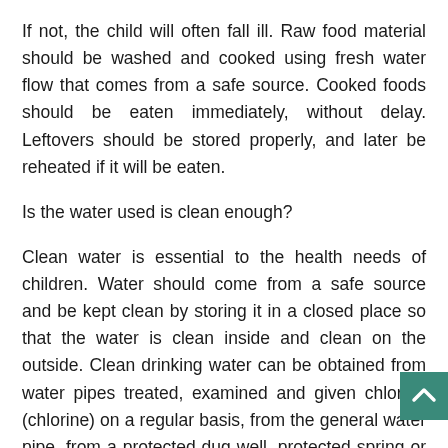If not, the child will often fall ill. Raw food material should be washed and cooked using fresh water flow that comes from a safe source. Cooked foods should be eaten immediately, without delay. Leftovers should be stored properly, and later be reheated if it will be eaten.
Is the water used is clean enough?
Clean water is essential to the health needs of children. Water should come from a safe source and be kept clean by storing it in a closed place so that the water is clean inside and clean on the outside. Clean drinking water can be obtained from water pipes treated, examined and given chlorine (chlorine) on a regular basis, from the general water pipe, from a protected dug well, protected spring or rainwater. If water is taken from the pool, river water, unprotected springs, wells or tanks, the water be clarified first. How to water treatment that can be done